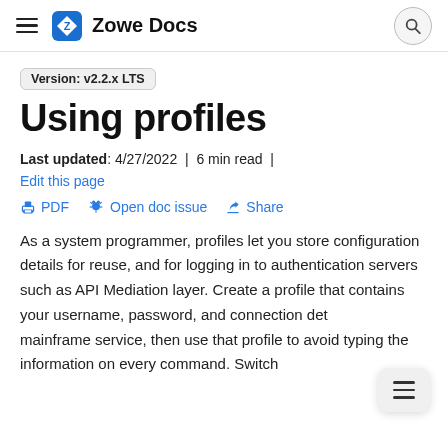Zowe Docs
Version: v2.2.x LTS
Using profiles
Last updated: 4/27/2022 | 6 min read | Edit this page
PDF   Open doc issue   Share
As a system programmer, profiles let you store configuration details for reuse, and for logging in to authentication servers such as API Mediation layer. Create a profile that contains your username, password, and connection details for a mainframe service, then use that profile to avoid typing the information on every command. Switch